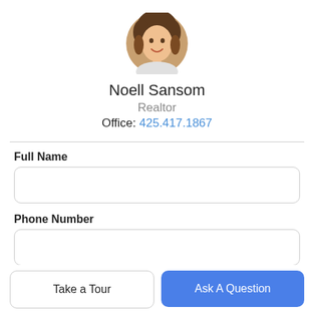[Figure (photo): Circular profile photo of a woman with curly hair, smiling]
Noell Sansom
Realtor
Office: 425.417.1867
Full Name
Phone Number
Email Address
Take a Tour
Ask A Question